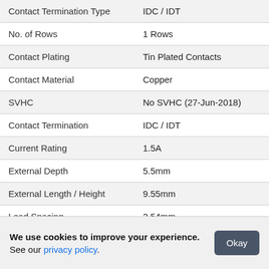| Property | Value |
| --- | --- |
| Contact Termination Type | IDC / IDT |
| No. of Rows | 1 Rows |
| Contact Plating | Tin Plated Contacts |
| Contact Material | Copper |
| SVHC | No SVHC (27-Jun-2018) |
| Contact Termination | IDC / IDT |
| Current Rating | 1.5A |
| External Depth | 5.5mm |
| External Length / Height | 9.55mm |
| Lead Spacing | 2.54mm |
| Termination Method | IDC |
| Voltage Rating VAC | 250V |
We use cookies to improve your experience. See our privacy policy.